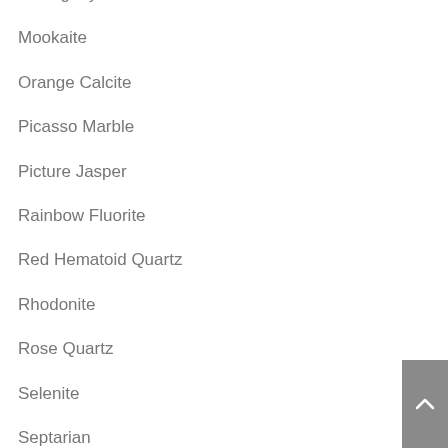Mahagany Obsidian
Mookaite
Orange Calcite
Picasso Marble
Picture Jasper
Rainbow Fluorite
Red Hematoid Quartz
Rhodonite
Rose Quartz
Selenite
Septarian
Snowflake Obsidian
Sodalite
Tiger Iron